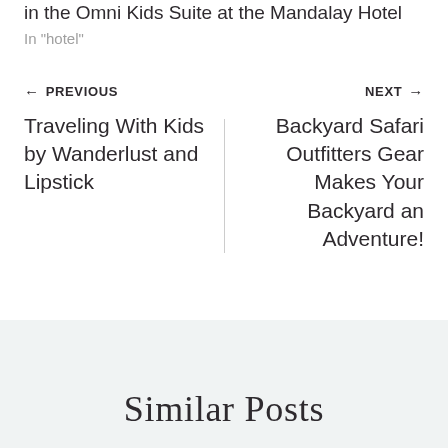in the Omni Kids Suite at the Mandalay Hotel
In "hotel"
← PREVIOUS
Traveling With Kids by Wanderlust and Lipstick
NEXT →
Backyard Safari Outfitters Gear Makes Your Backyard an Adventure!
Similar Posts